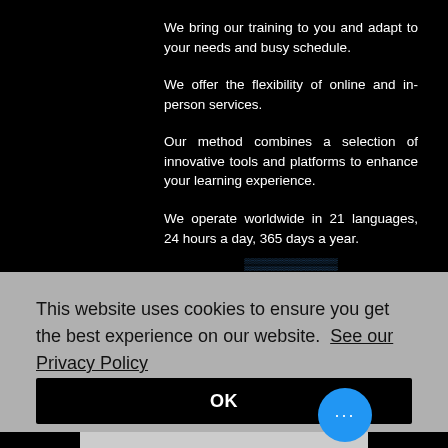We bring our training to you and adapt to your needs and busy schedule.
We offer the flexibility of online and in-person services.
Our method combines a selection of innovative tools and platforms to enhance your learning experience.
We operate worldwide in 21 languages, 24 hours a day, 365 days a year.
This website uses cookies to ensure you get the best experience on our website.  See our Privacy Policy
OK